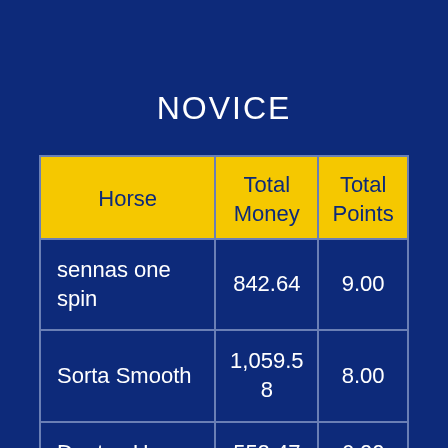NOVICE
| Horse | Total Money | Total Points |
| --- | --- | --- |
| sennas one spin | 842.64 | 9.00 |
| Sorta Smooth | 1,059.58 | 8.00 |
| Duntay Hey | 552.47 | 6.00 |